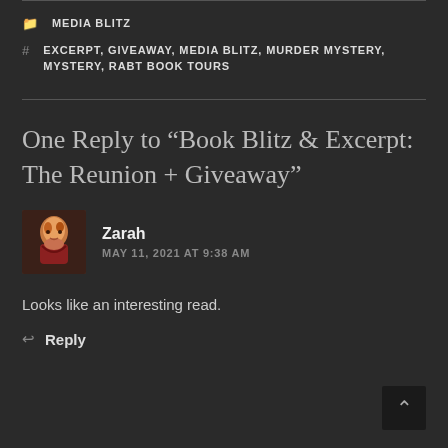MEDIA BLITZ
EXCERPT, GIVEAWAY, MEDIA BLITZ, MURDER MYSTERY, MYSTERY, RABT BOOK TOURS
One Reply to “Book Blitz & Excerpt: The Reunion + Giveaway”
Zarah
MAY 11, 2021 AT 9:38 AM
Looks like an interesting read.
Reply